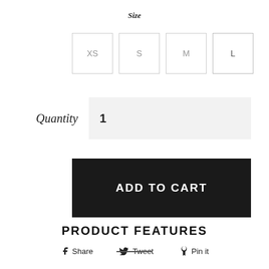Size
XS  S  M  L
Quantity  1
ADD TO CART
Share  Tweet  Pin it
PRODUCT FEATURES